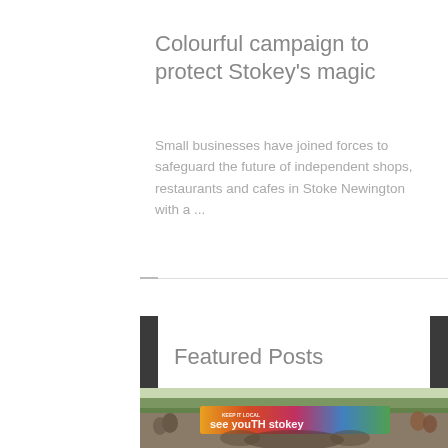Colourful campaign to protect Stokey's magic
Small businesses have joined forces to safeguard the future of independent shops, restaurants and cafes in Stoke Newington with a ...
Featured Posts
[Figure (photo): Group photo of people standing in front of a colourful banner reading 'KEEP IT LOCAL - see youTH in Stokey' outdoors, with trees in background]